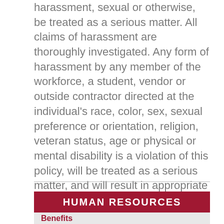Henderson State University requires that harassment, sexual or otherwise, be treated as a serious matter. All claims of harassment are thoroughly investigated. Any form of harassment by any member of the workforce, a student, vendor or outside contractor directed at the individual's race, color, sex, sexual preference or orientation, religion, veteran status, age or physical or mental disability is a violation of this policy, will be treated as a serious matter, and will result in appropriate action up to termination. See Sex- and Gender-Based Discrimination, Harassment, Misconduct and Retaliation.
HUMAN RESOURCES
Benefits